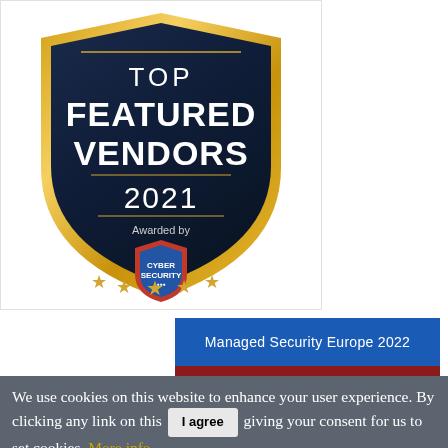[Figure (logo): Top Featured Vendors 2021 badge awarded by Cyber Security magazine, shield shape with dark navy background and gold border, featuring five gold stars at the bottom and a Cyber Security shield logo in the center]
Managed Security Europe 2022
Top Vendors
We use cookies on this website to enhance your user experience. By clicking any link on this giving your consent for us to set cookies. More info